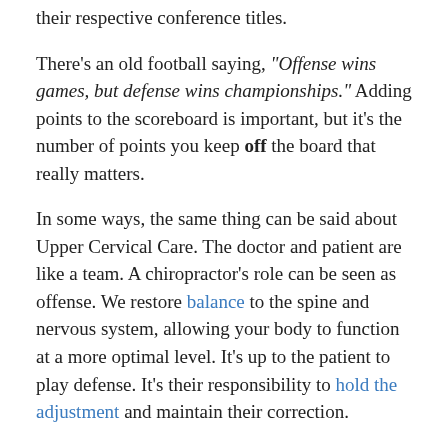their respective conference titles.
There's an old football saying, "Offense wins games, but defense wins championships." Adding points to the scoreboard is important, but it's the number of points you keep off the board that really matters.
In some ways, the same thing can be said about Upper Cervical Care. The doctor and patient are like a team. A chiropractor's role can be seen as offense. We restore balance to the spine and nervous system, allowing your body to function at a more optimal level. It's up to the patient to play defense. It's their responsibility to hold the adjustment and maintain their correction.
I've always felt that the longer someone can hold their correction, the better off they are… But when a person is continuously exposed to physical, chemical or